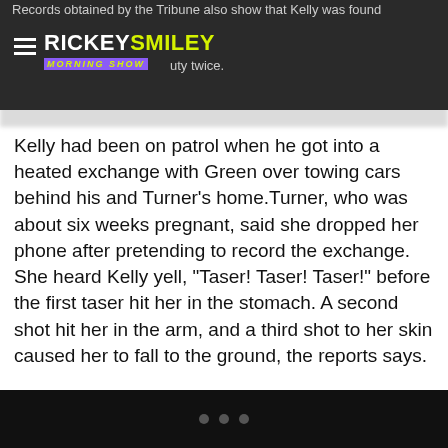RICKEY SMILEY MORNING SHOW
Records obtained by the Tribune also show that Kelly was found ... duty twice.
Kelly had been on patrol when he got into a heated exchange with Green over towing cars behind his and Turner’s home.Turner, who was about six weeks pregnant, said she dropped her phone after pretending to record the exchange. She heard Kelly yell, “Taser! Taser! Taser!” before the first taser hit her in the stomach. A second shot hit her in the arm, and a third shot to her skin caused her to fall to the ground, the reports says.
...